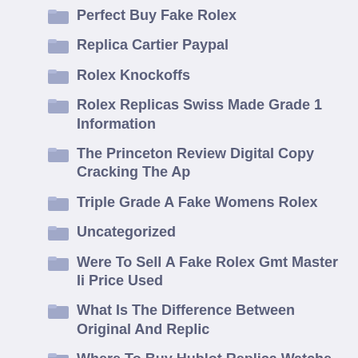Perfect Buy Fake Rolex
Replica Cartier Paypal
Rolex Knockoffs
Rolex Replicas Swiss Made Grade 1 Information
The Princeton Review Digital Copy Cracking The Ap
Triple Grade A Fake Womens Rolex
Uncategorized
Were To Sell A Fake Rolex Gmt Master Ii Price Used
What Is The Difference Between Original And Replic
Where To Buy Hublot Replica Watche For Cheaps
Where To Buy Rolex Replica Submariner